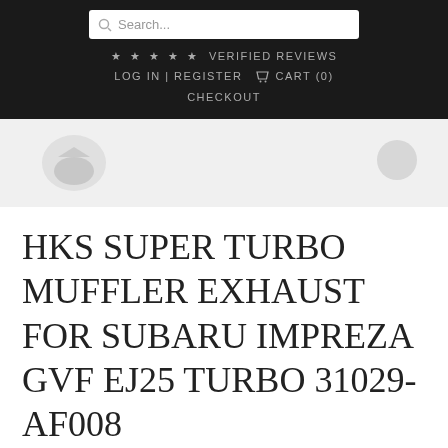Search... ★★★★★ VERIFIED REVIEWS LOG IN | REGISTER 🛒 CART (0) CHECKOUT
[Figure (photo): Partial view of product image with left and right navigation arrows on a light grey background]
HKS SUPER TURBO MUFFLER EXHAUST FOR SUBARU IMPREZA GVF EJ25 TURBO 31029-AF008